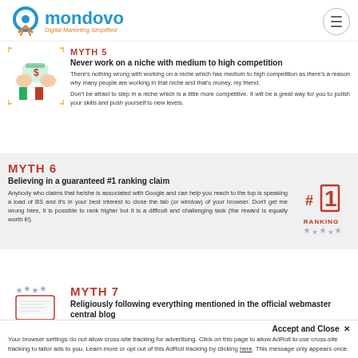mondovo — Digital Marketing Simplified
MYTH 5 — Never work on a niche with medium to high competition
There's nothing wrong with working on a niche which has medium to high competition as there's a reason why many people are working in that niche and that's money, my friend.
Don't be afraid to step in a niche which is a little more competitive. It will be a great way for you to polish your skills and push yourself to new levels.
[Figure (illustration): Illustration of hands exchanging money with stars border (Italian flag colors)]
MYTH 6 — Believing in a guaranteed #1 ranking claim
Anybody who claims that he/she is associated with Google and can help you reach to the top is speaking a load of BS and it's in your best interest to close the tab (or window) of your browser. Don't get me wrong here, it is possible to rank higher but it is a difficult and challenging task (the reward is equally worth it!).
[Figure (illustration): #1 RANKING badge with stars border]
MYTH 7 — Religiously following everything mentioned in the official webmaster central blog
Moving from the official blog...
[Figure (illustration): Illustration with stars border for MYTH 7]
Accept and Close ✕
Your browser settings do not allow cross-site tracking for advertising. Click on this page to allow AdRoll to use cross-site tracking to tailor ads to you. Learn more or opt out of this AdRoll tracking by clicking here. This message only appears once.